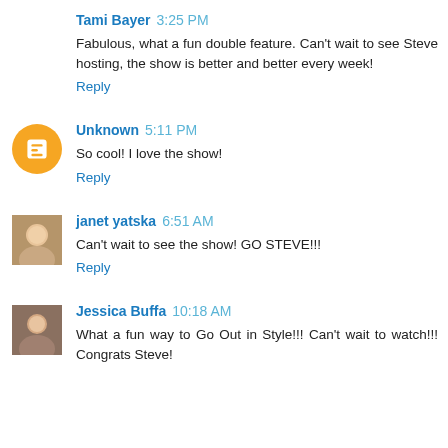Tami Bayer 3:25 PM
Fabulous, what a fun double feature. Can't wait to see Steve hosting, the show is better and better every week!
Reply
Unknown 5:11 PM
So cool! I love the show!
Reply
janet yatska 6:51 AM
Can't wait to see the show! GO STEVE!!!
Reply
Jessica Buffa 10:18 AM
What a fun way to Go Out in Style!!! Can't wait to watch!!! Congrats Steve!